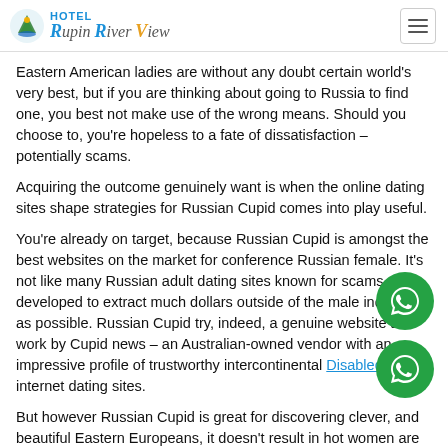HOTEL Rupin River View
Eastern American ladies are without any doubt certain world's very best, but if you are thinking about going to Russia to find one, you best not make use of the wrong means. Should you choose to, you're hopeless to a fate of dissatisfaction – potentially scams.
Acquiring the outcome genuinely want is when the online dating sites shape strategies for Russian Cupid comes into play useful.
You're already on target, because Russian Cupid is amongst the best websites on the market for conference Russian female. It's not like many Russian adult dating sites known for scams and developed to extract much dollars outside of the male individual as possible. Russian Cupid try, indeed, a genuine website and work by Cupid news – an Australian-owned vendor with an impressive profile of trustworthy intercontinental Disabled dating internet dating sites.
But however Russian Cupid is great for discovering clever, and beautiful Eastern Europeans, it doesn't result in hot women are likely to be falling into their virtual arms easily. The truth is: horny females on Russian Cupid collect pounded with